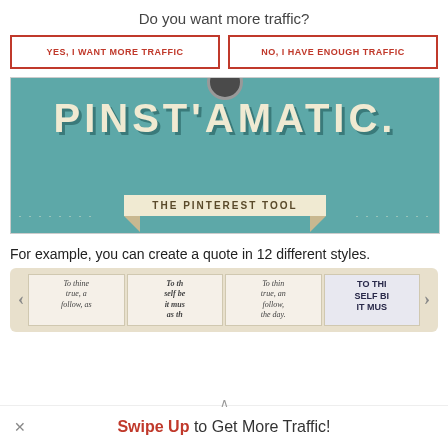Do you want more traffic?
YES, I WANT MORE TRAFFIC
NO, I HAVE ENOUGH TRAFFIC
[Figure (screenshot): Pinstamatic - The Pinterest Tool banner image with teal background, large decorative text PINSTAMATIC and ribbon banner reading THE PINTEREST TOOL]
For example, you can create a quote in 12 different styles.
[Figure (screenshot): Quote style slider showing multiple style previews of a quote beginning with 'To thine true, follow, as' in various typographic styles with left and right navigation arrows]
Swipe Up to Get More Traffic!